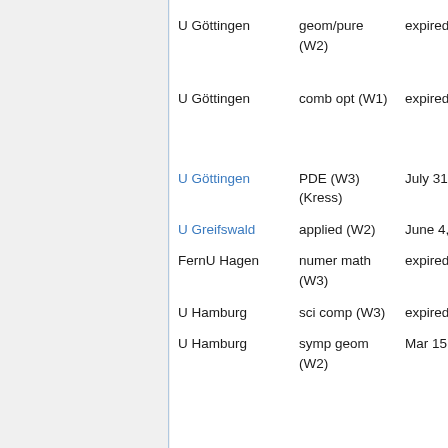| Institution | Field | Date |
| --- | --- | --- |
| U Göttingen | geom/pure (W2) | expired |
| U Göttingen | comb opt (W1) | expired |
| U Göttingen | PDE (W3) (Kress) | July 31, 2009 |
| U Greifswald | applied (W2) | June 4, 2009 |
| FernU Hagen | numer math (W3) | expired |
| U Hamburg | sci comp (W3) | expired |
| U Hamburg | symp geom (W2) | Mar 15, 2009 |